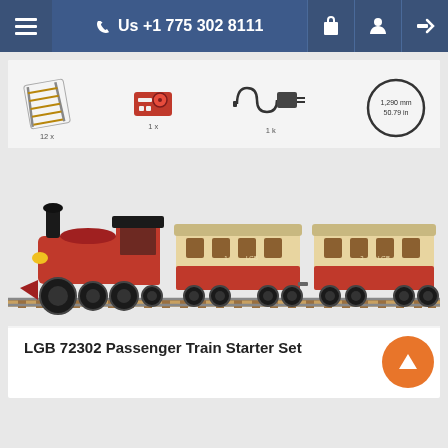Us +1 775 302 8111
[Figure (photo): LGB 72302 Passenger Train Starter Set product photo showing a red steam locomotive with two passenger cars, plus accessories: 12x curved track sections, 1x analog controller, 1x power supply, 1x transformer, and a circle indicating 1,290mm / 50.79in radius.]
LGB 72302 Passenger Train Starter Set
$389.95